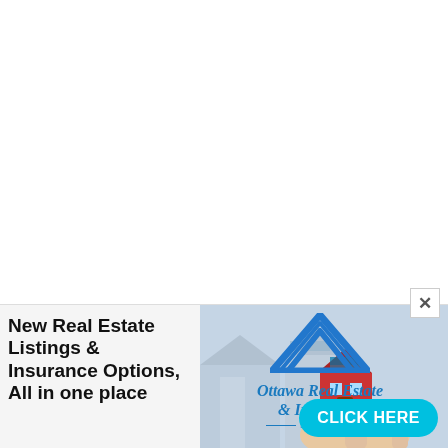[Figure (screenshot): White blank area at top of page representing empty web page content]
[Figure (illustration): Advertisement banner for Ottawa Real Estate & Insurance. Shows bold black text 'New Real Estate Listings & Insurance Options, All in one place' on left. Center shows blue triangular house logo. Upper right shows cursive blue text 'Ottawa Real Estate & Insurance Since 1910'. Background photo shows a hand holding a small red model house with blurred houses behind. Bottom right has a cyan rounded button labeled 'CLICK HERE'. A close (X) button appears at top right of ad.]